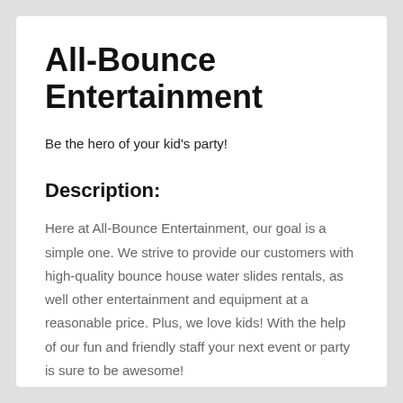All-Bounce Entertainment
Be the hero of your kid's party!
Description:
Here at All-Bounce Entertainment, our goal is a simple one. We strive to provide our customers with high-quality bounce house water slides rentals, as well other entertainment and equipment at a reasonable price. Plus, we love kids! With the help of our fun and friendly staff your next event or party is sure to be awesome!